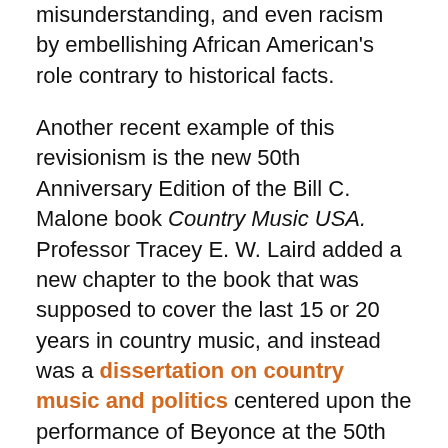misunderstanding, and even racism by embellishing African American's role contrary to historical facts.
Another recent example of this revisionism is the new 50th Anniversary Edition of the Bill C. Malone book Country Music USA. Professor Tracey E. W. Laird added a new chapter to the book that was supposed to cover the last 15 or 20 years in country music, and instead was a dissertation on country music and politics centered upon the performance of Beyonce at the 50th Annual CMA Awards, and her supposed snubbing by the Grammys and the CMAs for her song “Daddy Lessons.”
Except for country music, every major popular American genre has its roots primarily in African American origins, from hip-hop and R&B, to blues, to rock and roll which is primarily blues-based, to